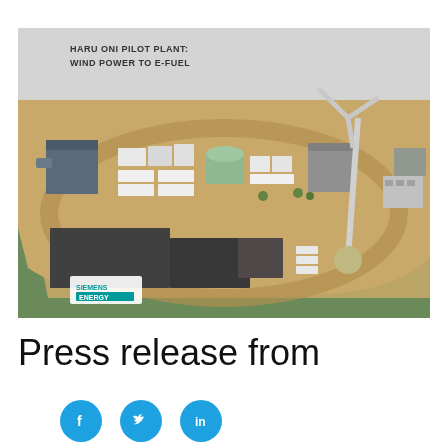[Figure (illustration): 3D aerial rendering of the Haru Oni Pilot Plant showing industrial facilities for converting wind power to e-fuel. The image shows a bird's-eye view of a plant complex with buildings, storage tanks, a wind turbine tower, solar panels, and processing units. Title text in upper-left reads 'HARU ONI PILOT PLANT: WIND POWER TO E-FUEL'. Siemens Energy logo visible in lower-left corner.]
Press release from
[Figure (infographic): Three social media sharing buttons: Facebook (f), Twitter (bird icon), and LinkedIn (in), all in teal/blue circular buttons.]